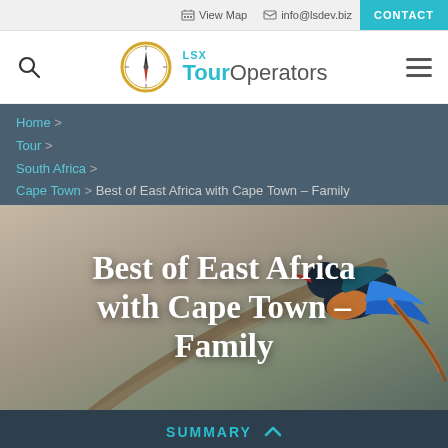View Map  info@lsdev.biz  CONTACT
[Figure (logo): LSX Tour Operators logo with compass icon, search icon, and hamburger menu]
Home >
Tour >
South Africa >
Cape Town > Best of East Africa with Cape Town – Family
Best of East Africa with Cape Town – Family
[Figure (photo): Close-up photo of a colorful bird (blue, orange, black with red beak) perched on a branch, with blurred natural background]
SUMMARY